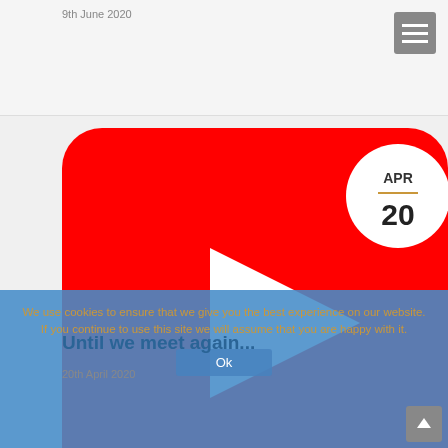9th June 2020
[Figure (screenshot): YouTube video thumbnail placeholder with red rounded rectangle background and white play button triangle in center. A circular date badge in top-right shows APR / 20 with a gold divider line.]
We use cookies to ensure that we give you the best experience on our website. If you continue to use this site we will assume that you are happy with it.
Ok
Until we meet again...
20th April 2020